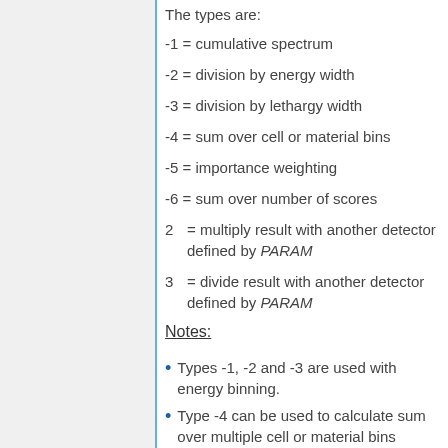The types are:
-1 = cumulative spectrum
-2 = division by energy width
-3 = division by lethargy width
-4 = sum over cell or material bins
-5 = importance weighting
-6 = sum over number of scores
2 = multiply result with another detector defined by PARAM
3 = divide result with another detector defined by PARAM
Notes:
Types -1, -2 and -3 are used with energy binning.
Type -4 can be used to calculate sum over multiple cell or material bins defined using the dc and dm options. By default separate bins are used for